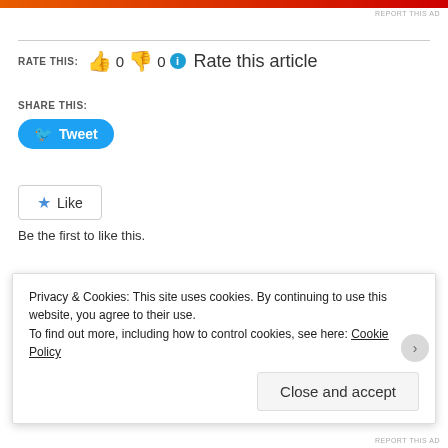[Figure (screenshot): Top orange/red ad bar]
REPORT THIS AD
RATE THIS: 👍 0 👎 0 ℹ Rate this article
SHARE THIS:
Tweet
Like
Be the first to like this.
RELATED:
[Figure (screenshot): PS3 game box thumbnail]
[Figure (screenshot): Purple mobile game screenshot thumbnail]
Privacy & Cookies: This site uses cookies. By continuing to use this website, you agree to their use.
To find out more, including how to control cookies, see here: Cookie Policy
Close and accept
REPORT THIS AD